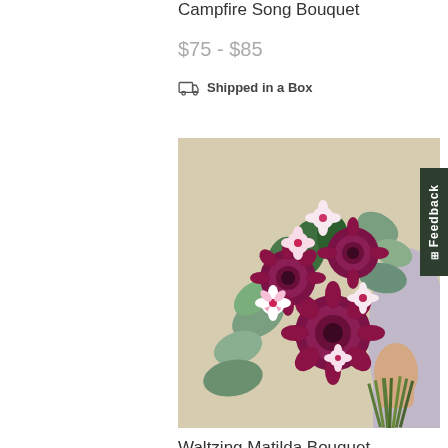Campfire Song Bouquet
$75 - $85
Shipped in a Box
[Figure (photo): A person's hand holding a bouquet of dark magenta chrysanthemums, pink and white dianthus flowers, and green eucalyptus leaves against a pale beige background.]
Waltzing Matilda Bouquet